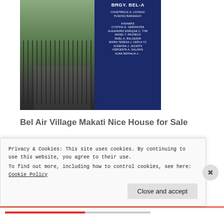[Figure (photo): Street view photo of Bel Air Village Makati entrance gate with a barangay sign board in dark blue showing BRGY. BEL-A and official names]
Bel Air Village Makati Nice House for Sale
Lot Area: 669 sqm.
Nice house, 2 storey
4 bedrooms, family room
Privacy & Cookies: This site uses cookies. By continuing to use this website, you agree to their use.
To find out more, including how to control cookies, see here: Cookie Policy
Close and accept